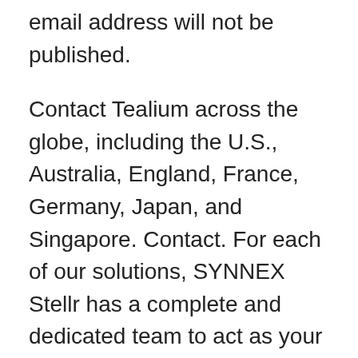email address will not be published.
Contact Tealium across the globe, including the U.S., Australia, England, France, Germany, Japan, and Singapore. Contact. For each of our solutions, SYNNEX Stellr has a complete and dedicated team to act as your trusted advisor for anything you may need. Contact Securence for your needs in hosting exchange, email spam filtering and Hosted Exchange Solutions. The MG22 was born of the MG series rifle suppressors. Rex Silentium We will contact you as soon as this product is available.
Bengt danielsson bygg ab
Testa hur bra ditt företag syns på internet Silentium Contact AB Utbildning Luleå tekniska universitet Luleå tekniska universitet Filosofie masterexamen